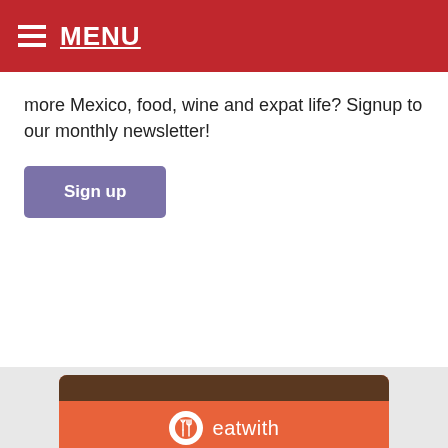MENU
more Mexico, food, wine and expat life? Signup to our monthly newsletter!
Sign up
[Figure (infographic): eatwith advertisement banner with orange background, logo, headline 'Awaken your senses with online experiences', subtext about live cooking classes and workshops, and a 'Find out more >' button]